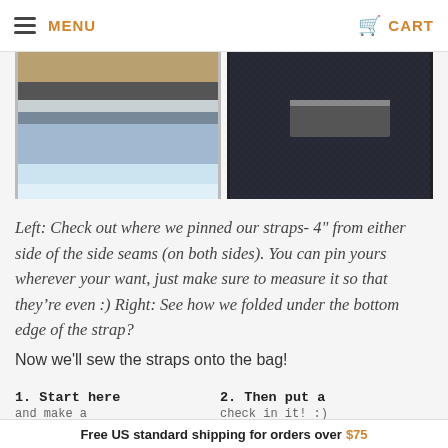MENU   CART
[Figure (photo): Two photos side by side: left shows a blue and grey fabric piece pinned to a bag; right shows a close-up of dark woven fabric with a folded strap edge.]
Left: Check out where we pinned our straps- 4" from either side of the side seams (on both sides). You can pin yours wherever your want, just make sure to measure it so that they're even :) Right: See how we folded under the bottom edge of the strap?
Now we'll sew the straps onto the bag!
1. Start here and make a
2. Then put a check in it!  :)
Free US standard shipping for orders over $75